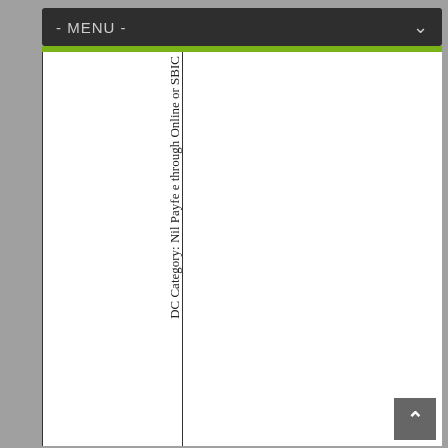- MENU -
DC Category: Nil Payfe e through Online or SBIC